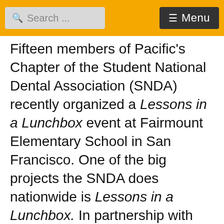Search ... Menu
Fifteen members of Pacific's Chapter of the Student National Dental Association (SNDA) recently organized a Lessons in a Lunchbox event at Fairmount Elementary School in San Francisco. One of the big projects the SNDA does nationwide is Lessons in a Lunchbox. In partnership with The Children's Oral Health Institute, the goal is the reduce tooth decay, which is the most common chronic disease in children 5 to 1 7 years old. One of the goals is to help introduce the importance of oral health at a young age in hopes of preventing more severe oral diseases. The second goal is the help introduce children to dentistry as a potential career that they are all capable of pursuing and